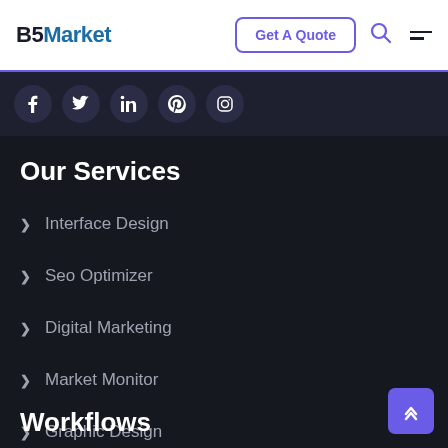B5Market — Get A Quote
[Figure (infographic): Social media icon row: Facebook, Twitter, LinkedIn, Pinterest, Instagram — dark circular buttons on dark background]
Our Services
Interface Design
Seo Optimizer
Digital Marketing
Market Monitor
Graphic Design
Workflows